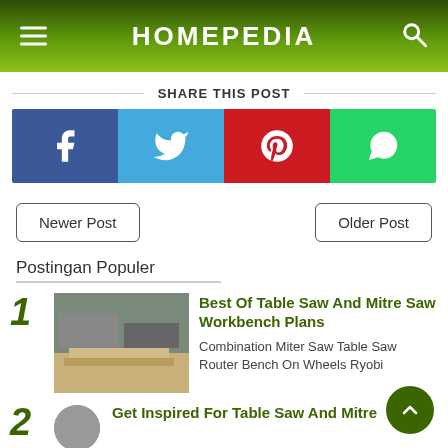HOMEPEDIA
SHARE THIS POST
[Figure (infographic): Social share buttons: Facebook (blue), Twitter (light blue), Pinterest (red), WhatsApp (green)]
Newer Post
Older Post
Postingan Populer
[Figure (photo): Workshop bench photo for post 1]
Best Of Table Saw And Mitre Saw Workbench Plans
Combination Miter Saw Table Saw Router Bench On Wheels Ryobi
Get Inspired For Table Saw And Mitre